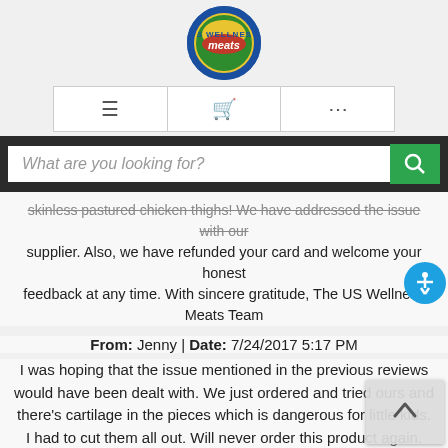[Figure (logo): US Wellness Meats circular logo with blue border and stylized meats text]
[Figure (screenshot): Navigation bar with hamburger menu, shopping cart, and ellipsis icons]
[Figure (screenshot): Search bar with placeholder 'What are you looking for?' and green search button]
skinless pastured chicken thighs! We have addressed the issue with our supplier. Also, we have refunded your card and welcome your honest feedback at any time. With sincere gratitude, The US Wellness Meats Team
From: Jenny | Date: 7/24/2017 5:17 PM
I was hoping that the issue mentioned in the previous reviews would have been dealt with. We just ordered and tried ours and there's cartilage in the pieces which is dangerous for little kids. I had to cut them all out. Will never order this product again. Defeats the purpose of having someone else debone.
*From USW Meats- We are sorry for your disappointment with the boneless skinless pastured chicken thighs! We have addressed the issue with our supplier. Also, we have refunded your card and welcome your honest feedback at any time. With sincere gratitude, The US Wellness Meats Team